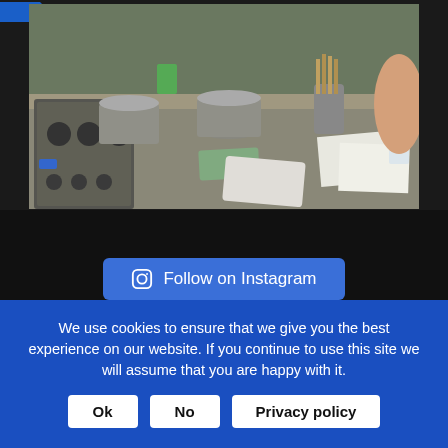[Figure (photo): People working at a professional kitchen counter with pots, pans, utensils, and recipe papers on a stainless steel surface]
Follow on Instagram
We use cookies to ensure that we give you the best experience on our website. If you continue to use this site we will assume that you are happy with it.
Ok
No
Privacy policy